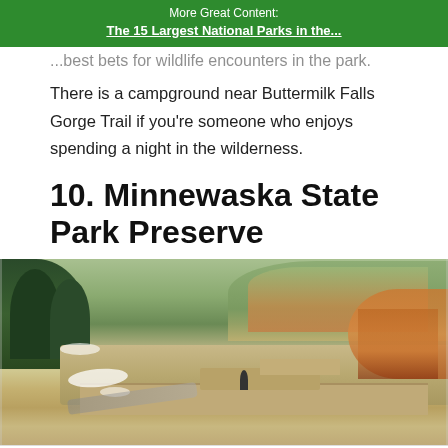More Great Content:
The 15 Largest National Parks in the...
...best bets for wildlife encounters in the park.
There is a campground near Buttermilk Falls Gorge Trail if you're someone who enjoys spending a night in the wilderness.
10. Minnewaska State Park Preserve
[Figure (photo): Outdoor rocky trail with stone ledges, snow patches, evergreen trees, and autumn foliage in background at Minnewaska State Park Preserve]
Ad — Everyday Low Prices — Bob's Discount Furniture — Shop Now